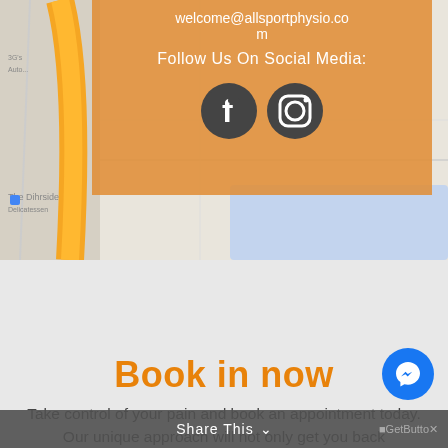[Figure (map): Google Maps screenshot showing road map with orange highway/road overlay and semi-transparent orange info overlay box on top-right portion]
welcome@allsportphysio.com
Follow Us On Social Media:
[Figure (illustration): Facebook and Instagram social media icons in dark gray circle style]
Book in now
Take control of your pain and book an appointment today. Our unique approach will not only get you back
Share This